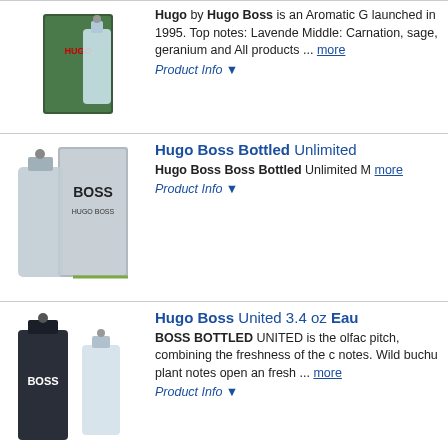[Figure (photo): Hugo Boss perfume bottle and box, green packaging]
Hugo by Hugo Boss is an Aromatic G launched in 1995. Top notes: Lavende Middle: Carnation, sage, geranium and All products ... more
Product Info ▼
[Figure (photo): Hugo Boss Bottled Unlimited cologne bottles, grey]
Hugo Boss Bottled Unlimited
Hugo Boss Boss Bottled Unlimited M more
Product Info ▼
[Figure (photo): Hugo Boss United cologne bottles, dark and light]
Hugo Boss United 3.4 oz Eau
BOSS BOTTLED UNITED is the olfac pitch, combining the freshness of the c notes. Wild buchu plant notes open an fresh ... more
Product Info ▼
[Figure (photo): Hugo Boss Tonic cologne bottle, dark blue]
Hugo Boss Men's Boss Tonic
The Man of Today navigates various ro or seeking balance and authenticity. B of Today's aspiration to reconnect with ... more
Product Info ▼
[Figure (photo): Hugo Man cologne bottle, green packaging]
Hugo Man 2.5 Oz Eau De Toil
Hugo by Hugo Boss is an Aromatic G launched in 1995. Top notes: